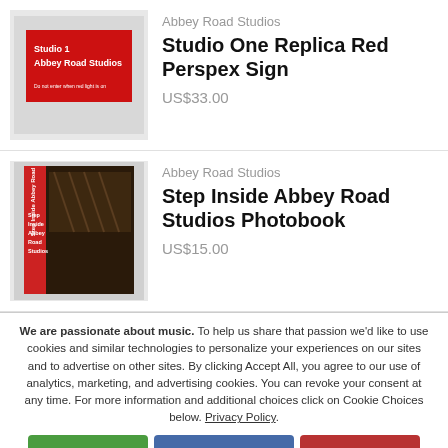[Figure (photo): Red perspex sign reading Studio 1 Abbey Road Studios with small text Do not enter when red light is on]
Abbey Road Studios
Studio One Replica Red Perspex Sign
US$33.00
[Figure (photo): Book cover for Step Inside Abbey Road Studios Photobook with red spine and dark interior photo]
Abbey Road Studios
Step Inside Abbey Road Studios Photobook
US$15.00
We are passionate about music. To help us share that passion we'd like to use cookies and similar technologies to personalize your experiences on our sites and to advertise on other sites. By clicking Accept All, you agree to our use of analytics, marketing, and advertising cookies. You can revoke your consent at any time. For more information and additional choices click on Cookie Choices below. Privacy Policy.